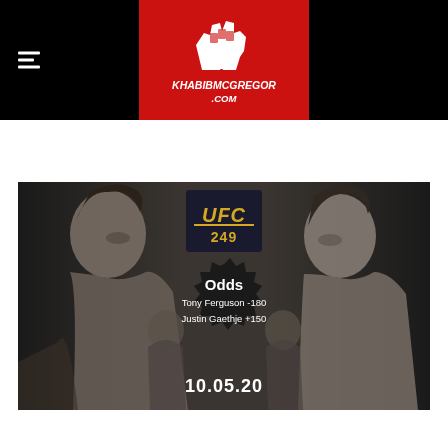KhabibMcGregor.com — website header with logo
[Figure (photo): UFC 249 promotional image showing Tony Ferguson and Justin Gaethje facing off, with UFC 249 logo, odds overlay (Tony Ferguson -180, Justin Gaethje +150), and date 10.05.20]